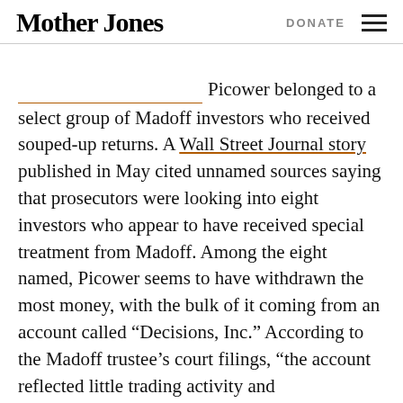Mother Jones   DONATE
Picower belonged to a select group of Madoff investors who received souped-up returns. A Wall Street Journal story published in May cited unnamed sources saying that prosecutors were looking into eight investors who appear to have received special treatment from Madoff. Among the eight named, Picower seems to have withdrawn the most money, with the bulk of it coming from an account called “Decisions, Inc.” According to the Madoff trustee’s court filings, “the account reflected little trading activity and